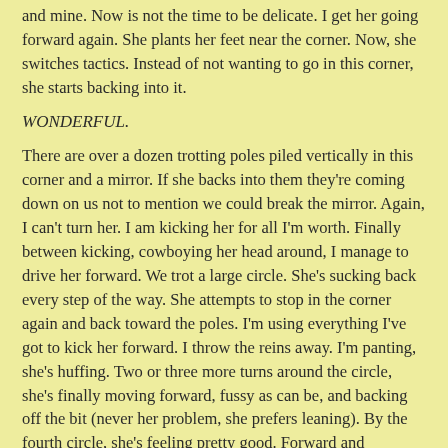and mine. Now is not the time to be delicate. I get her going forward again. She plants her feet near the corner. Now, she switches tactics. Instead of not wanting to go in this corner, she starts backing into it.
WONDERFUL.
There are over a dozen trotting poles piled vertically in this corner and a mirror. If she backs into them they're coming down on us not to mention we could break the mirror. Again, I can't turn her. I am kicking her for all I'm worth. Finally between kicking, cowboying her head around, I manage to drive her forward. We trot a large circle. She's sucking back every step of the way. She attempts to stop in the corner again and back toward the poles. I'm using everything I've got to kick her forward. I throw the reins away. I'm panting, she's huffing. Two or three more turns around the circle, she's finally moving forward, fussy as can be, and backing off the bit (never her problem, she prefers leaning). By the fourth circle, she's feeling pretty good. Forward and powerful and listening and not hesitating when she goes by the spooky corner. She's still feels funny in the bridle. I let go of the curb rein completely (I'm riding in a double bridle) as she had been known to have fits if you hold onto the curb too tight. You have to be really careful with the curb